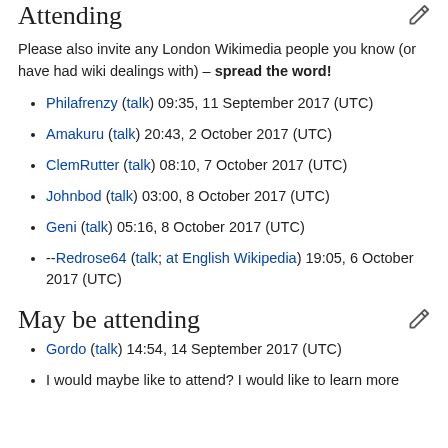Attending
Please also invite any London Wikimedia people you know (or have had wiki dealings with) – spread the word!
Philafrenzy (talk) 09:35, 11 September 2017 (UTC)
Amakuru (talk) 20:43, 2 October 2017 (UTC)
ClemRutter (talk) 08:10, 7 October 2017 (UTC)
Johnbod (talk) 03:00, 8 October 2017 (UTC)
Geni (talk) 05:16, 8 October 2017 (UTC)
--Redrose64 (talk; at English Wikipedia) 19:05, 6 October 2017 (UTC)
May be attending
Gordo (talk) 14:54, 14 September 2017 (UTC)
I would maybe like to attend? I would like to learn more